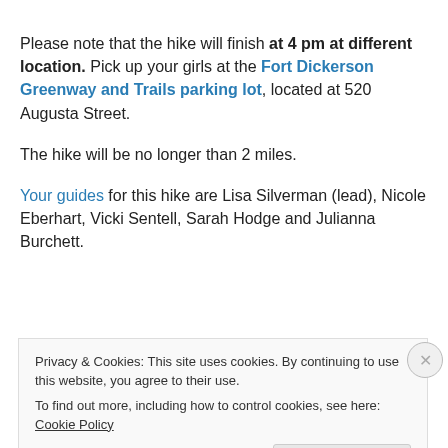Please note that the hike will finish at 4 pm at different location. Pick up your girls at the Fort Dickerson Greenway and Trails parking lot, located at 520 Augusta Street.
The hike will be no longer than 2 miles.
Your guides for this hike are Lisa Silverman (lead), Nicole Eberhart, Vicki Sentell, Sarah Hodge and Julianna Burchett.
Privacy & Cookies: This site uses cookies. By continuing to use this website, you agree to their use. To find out more, including how to control cookies, see here: Cookie Policy
Close and accept